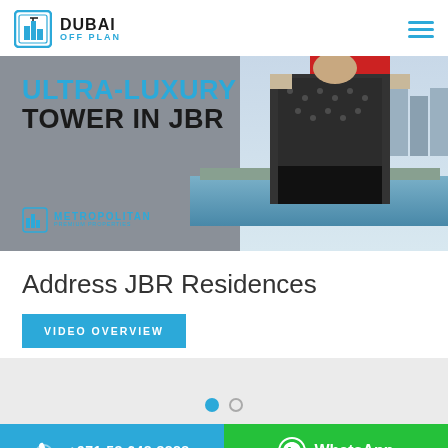DUBAI OFF PLAN
[Figure (photo): Banner advertisement showing an ultra-luxury tower in JBR with a person in a patterned dress and a waterfront skyline background. Text overlay: ULTRA-LUXURY TOWER IN JBR. Metropolitan Premium Properties logo bottom left.]
Address JBR Residences
VIDEO OVERVIEW
[Figure (other): Carousel pagination dots - one filled blue, one empty]
+971 58 648 8888 | WhatsApp